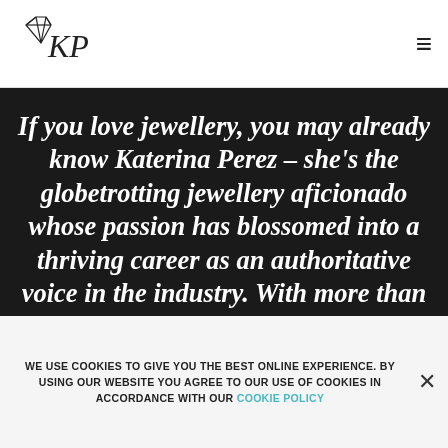[Figure (logo): KP jewellery logo with gem outline and stylized letters CKP]
If you love jewellery, you may already know Katerina Perez – she's the globetrotting jewellery aficionado whose passion has blossomed into a thriving career as an authoritative voice in the industry. With more than 300,000 followers on Instagram, you could call her an influencer, too, but as a jewellery insider with more than 12 years
WE USE COOKIES TO GIVE YOU THE BEST ONLINE EXPERIENCE. BY USING OUR WEBSITE YOU AGREE TO OUR USE OF COOKIES IN ACCORDANCE WITH OUR COOKIE POLICY